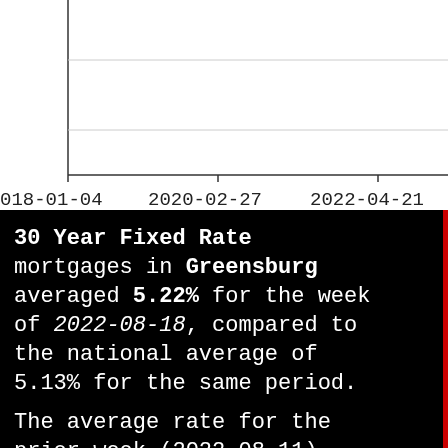[Figure (continuous-plot): Partial line chart showing x-axis with date labels: 2018-01-04, 2020-02-27, 2022-04-21. The top portion of the chart is visible with y-axis gridlines.]
30 Year Fixed Rate mortgages in Greensburg averaged 5.22% for the week of 2022-08-18, compared to the national average of 5.13% for the same period.

The average rate for the prior week (2022-08-11)